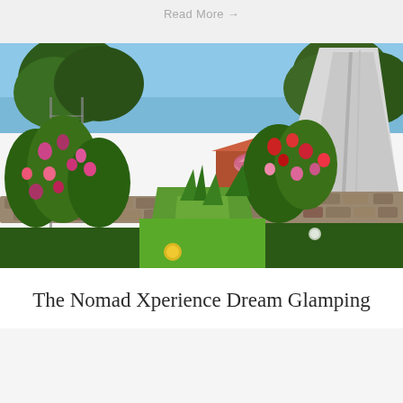Read More →
[Figure (photo): Garden path with lush flowering plants on both sides, green lawn in the middle leading to a pink umbrella and a large white teepee/glamping tent in the background, surrounded by trees and blue sky. A yellow dot indicator is visible near the bottom center and a white dot on the right side.]
The Nomad Xperience Dream Glamping